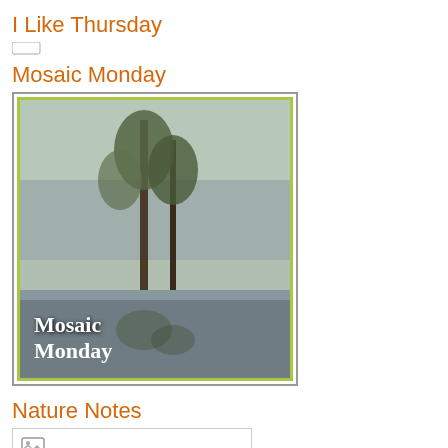I Like Thursday
[Figure (other): Small link/icon placeholder]
Mosaic Monday
[Figure (photo): Mosaic Monday badge image showing trees reflected in water with text 'Mosaic Monday' overlaid, bordered with green frame]
Nature Notes
[Figure (photo): Nature Notes image placeholder - broken image icon shown in top left of empty bordered box]
Our World Tuesday
[Figure (photo): Our World Tuesday banner image showing a world map with colorful globe/map graphic]